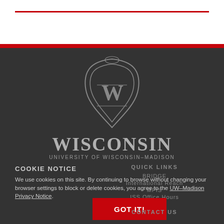[Figure (logo): University of Wisconsin-Madison crest logo with W shield and ornamental border, with text WISCONSIN and UNIVERSITY OF WISCONSIN-MADISON below]
COOKIE NOTICE
We use cookies on this site. By continuing to browse without changing your browser settings to block or delete cookies, you agree to the UW–Madison Privacy Notice.
QUICK LINKS
BRIDGE
International Reach
MFIS
ISS Office Hours
GOT IT!
CONTACT US